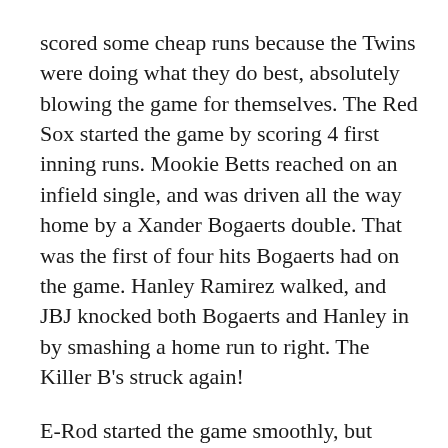scored some cheap runs because the Twins were doing what they do best, absolutely blowing the game for themselves.  The Red Sox started the game by scoring 4 first inning runs.  Mookie Betts reached on an infield single, and was driven all the way home by a Xander Bogaerts double.  That was the first of four hits Bogaerts had on the game.  Hanley Ramirez walked, and JBJ knocked both Bogaerts and Hanley in by smashing a home run to right.  The Killer B's struck again!
E-Rod started the game smoothly, but things got ugly starting in the 3rd inning.  With Byron Buxton on first, Eduardo Nunez hit a single off the right field wall.  Nunez started for second, but Betts made an amazing throw to Bogaerts...